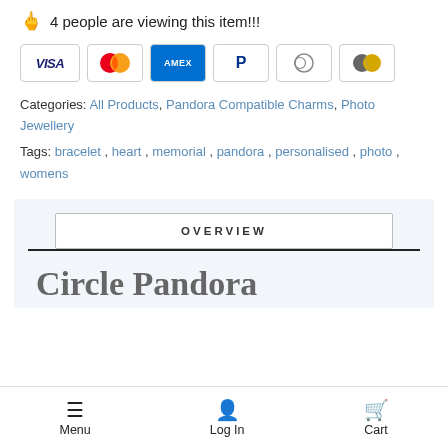4 people are viewing this item!!!
[Figure (other): Payment method icons: VISA, Mastercard, AMEX, PayPal, Diners Club, Maestro]
Categories: All Products, Pandora Compatible Charms, Photo Jewellery
Tags: bracelet, heart, memorial, pandora, personalised, photo, womens
OVERVIEW
Circle Pandora
Menu  Log In  Cart